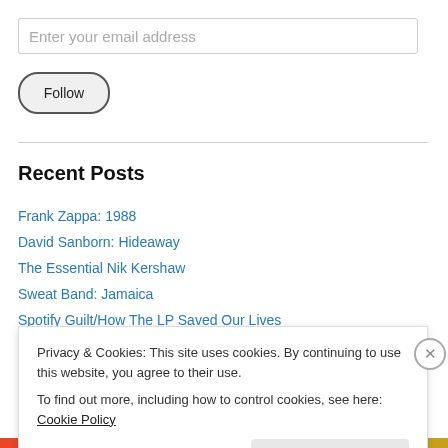Enter your email address
Follow
Recent Posts
Frank Zappa: 1988
David Sanborn: Hideaway
The Essential Nik Kershaw
Sweat Band: Jamaica
Spotify Guilt/How The LP Saved Our Lives
Privacy & Cookies: This site uses cookies. By continuing to use this website, you agree to their use. To find out more, including how to control cookies, see here: Cookie Policy
Close and accept